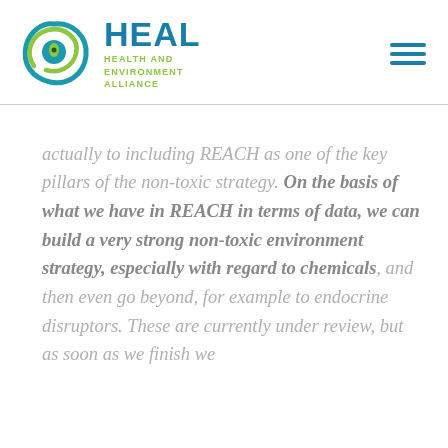HEAL HEALTH AND ENVIRONMENT ALLIANCE
actually to including REACH as one of the key pillars of the non-toxic strategy. On the basis of what we have in REACH in terms of data, we can build a very strong non-toxic environment strategy, especially with regard to chemicals, and then even go beyond, for example to endocrine disruptors. These are currently under review, but as soon as we finish we